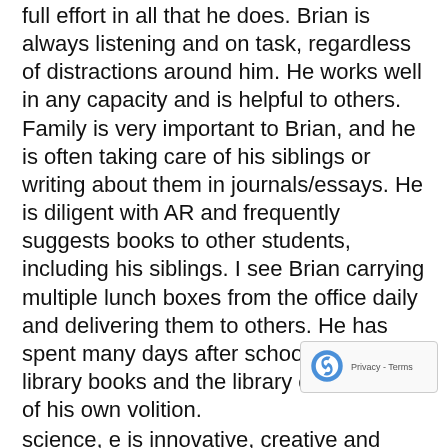full effort in all that he does. Brian is always listening and on task, regardless of distractions around him. He works well in any capacity and is helpful to others. Family is very important to Brian, and he is often taking care of his siblings or writing about them in journals/essays. He is diligent with AR and frequently suggests books to other students, including his siblings. I see Brian carrying multiple lunch boxes from the office daily and delivering them to others. He has spent many days after school organizing library books and the library card box, all of his own volition.
Mrs. Gough: “Brian is consistent with his effort and always willing to help his classmates. He volunteers in class and is diligent with his assignments and projects. science, e is innovative, creative and